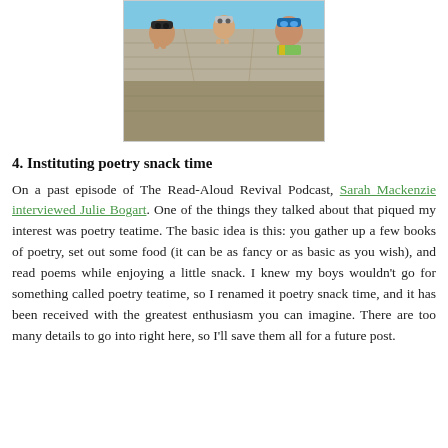[Figure (photo): Photo of children peering over the edge of a pool wall, with a concrete ledge visible and blue water in the background.]
4. Instituting poetry snack time
On a past episode of The Read-Aloud Revival Podcast, Sarah Mackenzie interviewed Julie Bogart. One of the things they talked about that piqued my interest was poetry teatime. The basic idea is this: you gather up a few books of poetry, set out some food (it can be as fancy or as basic as you wish), and read poems while enjoying a little snack. I knew my boys wouldn't go for something called poetry teatime, so I renamed it poetry snack time, and it has been received with the greatest enthusiasm you can imagine. There are too many details to go into right here, so I'll save them all for a future post.